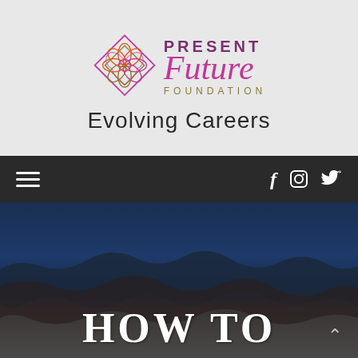[Figure (logo): Present Future Foundation logo with mandala/geometric flower design in pink, orange, red, and olive colors. Text reads PRESENT Future FOUNDATION in purple and olive colors. Below the logo: Evolving Careers in dark sans-serif text.]
Navigation bar with hamburger menu icon on left and social media icons (Facebook, Instagram, Twitter) on right
[Figure (photo): Hero image showing a dark blue ocean/beach photo with a wave or torn paper texture transition from dark blue at top to dark gray at bottom. Text HOW TO displayed in large white serif bold letters at the bottom.]
HOW TO